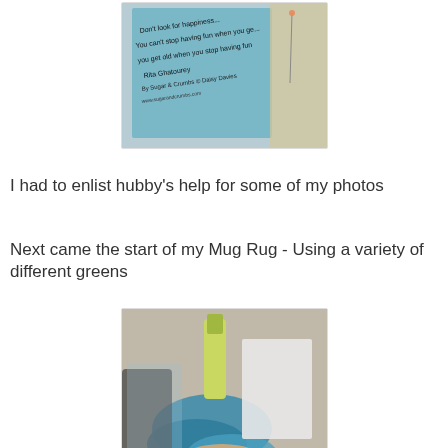[Figure (photo): Close-up photo of a blue fabric/card with handwritten text quote, partially visible pins and mesh material]
I had to enlist hubby's help for some of my photos
Next came the start of my Mug Rug - Using a variety of different greens
[Figure (photo): Photo of hands working on a mug rug craft project with blue fibres/wool and a sponge dauber, crafting supplies visible]